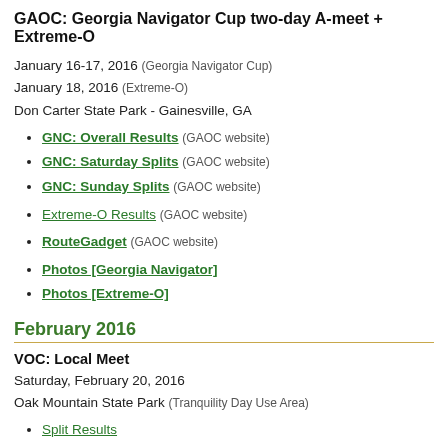GAOC: Georgia Navigator Cup two-day A-meet + Extreme-O
January 16-17, 2016 (Georgia Navigator Cup)
January 18, 2016 (Extreme-O)
Don Carter State Park - Gainesville, GA
GNC: Overall Results (GAOC website)
GNC: Saturday Splits (GAOC website)
GNC: Sunday Splits (GAOC website)
Extreme-O Results (GAOC website)
RouteGadget (GAOC website)
Photos [Georgia Navigator]
Photos [Extreme-O]
February 2016
VOC: Local Meet
Saturday, February 20, 2016
Oak Mountain State Park (Tranquility Day Use Area)
Split Results